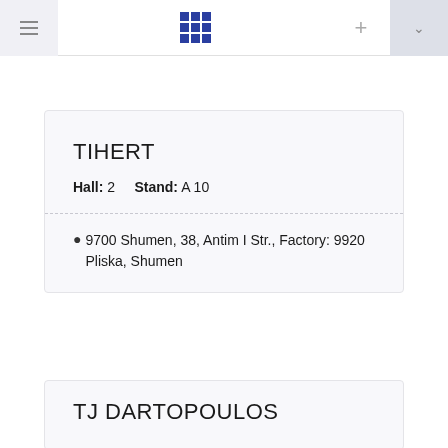[Figure (screenshot): Top navigation bar with hamburger menu on left, blue 3x3 grid icon in center, plus icon and dropdown chevron on right]
TIHERT
Hall: 2    Stand: A 10
9700 Shumen, 38, Antim I Str., Factory: 9920 Pliska, Shumen
TJ DARTOPОULOS